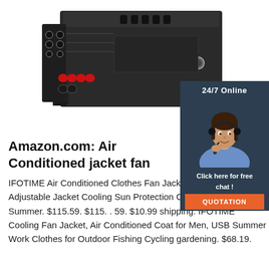[Figure (photo): Black electronic control box/power distribution unit with multiple connectors, red and black terminals, and mounting brackets, shown at an angle on white background.]
[Figure (infographic): 24/7 Online chat widget with a woman wearing a headset, dark navy background, 'Click here for free chat!' text, and an orange QUOTATION button.]
Amazon.com: Air Conditioned jacket fan
IFOTIME Air Conditioned Clothes Fan Jacket 8 Speed Adjustable Jacket Cooling Sun Protection Cooling Vest for Summer. $115.59. $115. . 59. $10.99 shipping. IFOTIME Cooling Fan Jacket, Air Conditioned Coat for Men, USB Summer Work Clothes for Outdoor Fishing Cycling gardening. $68.19.